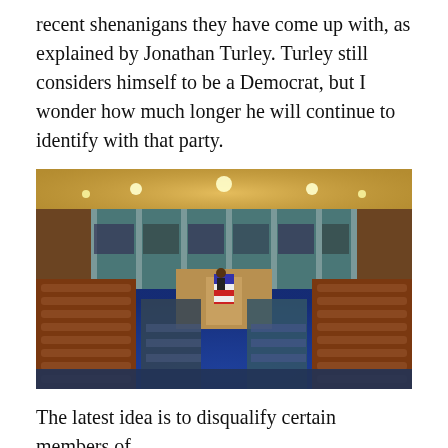recent shenanigans they have come up with, as explained by Jonathan Turley. Turley still considers himself to be a Democrat, but I wonder how much longer he will continue to identify with that party.
[Figure (photo): Wide-angle photograph of the United States House of Representatives chamber during a joint session, showing crowded semicircular seating, the dais at front center with American flag, ornate architecture with warm golden ceiling lighting and teal upper walls.]
The latest idea is to disqualify certain members of